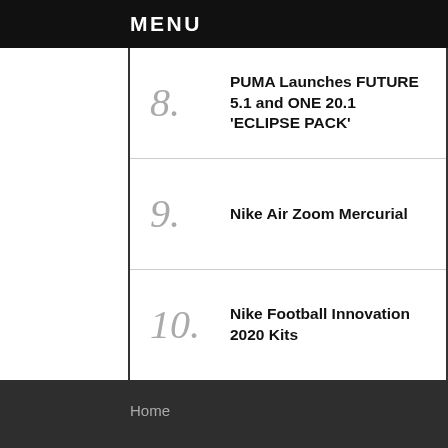MENU
8. PUMA Launches FUTURE 5.1 and ONE 20.1 'ECLIPSE PACK'
9. Nike Air Zoom Mercurial
10. Nike Football Innovation 2020 Kits
Home
Contact
Apply to be a Contributor